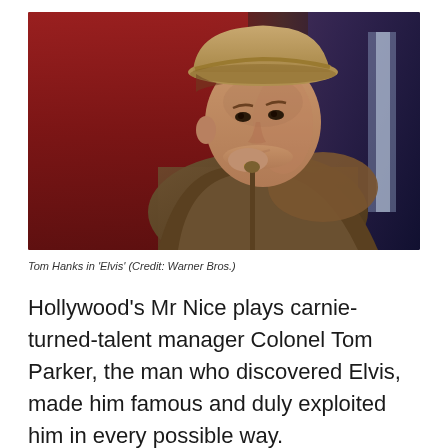[Figure (photo): Tom Hanks dressed as Colonel Tom Parker in the film 'Elvis', wearing a tan fedora hat and a brown tweed jacket, leaning against a red wall and resting his chin on his hands which hold a cane or microphone stand.]
Tom Hanks in 'Elvis' (Credit: Warner Bros.)
Hollywood's Mr Nice plays carnie-turned-talent manager Colonel Tom Parker, the man who discovered Elvis, made him famous and duly exploited him in every possible way.